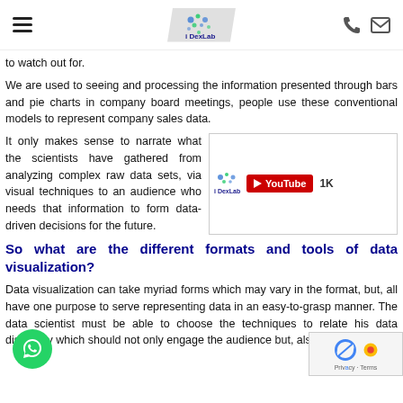DexLab
to watch out for.
We are used to seeing and processing the information presented through bars and pie charts in company board meetings, people use these conventional models to represent company sales data.
It only makes sense to narrate what the scientists have gathered from analyzing complex raw data sets, via visual techniques to an audience who needs that information to form data-driven decisions for the future.
[Figure (screenshot): DexLab YouTube channel widget showing logo, YouTube button in red, and 1K subscriber count]
So what are the different formats and tools of data visualization?
Data visualization can take myriad forms which may vary in the format, but, all have one purpose to serve representing data in an easy-to-grasp manner. The data scientist must be able to choose the techniques to relate his data discovery which should not only engage the audience but, also entertain them.